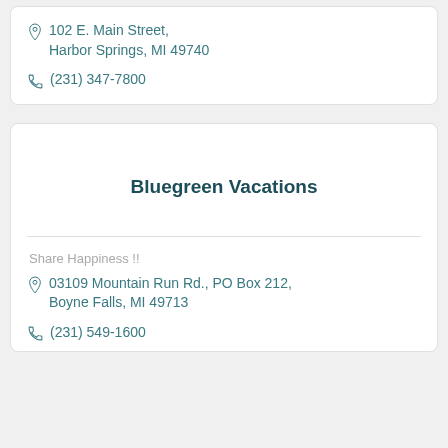102 E. Main Street, Harbor Springs, MI 49740
(231) 347-7800
Bluegreen Vacations
Share Happiness !!
03109 Mountain Run Rd., PO Box 212, Boyne Falls, MI 49713
(231) 549-1600